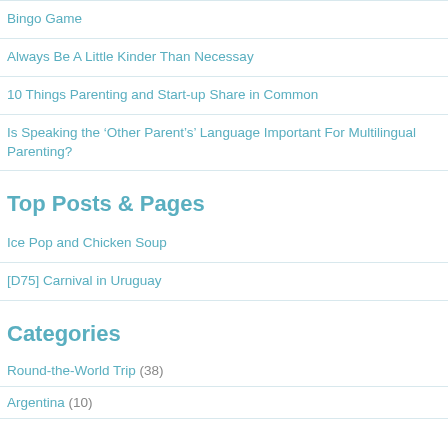Bingo Game
Always Be A Little Kinder Than Necessay
10 Things Parenting and Start-up Share in Common
Is Speaking the ‘Other Parent’s’ Language Important For Multilingual Parenting?
Top Posts & Pages
Ice Pop and Chicken Soup
[D75] Carnival in Uruguay
Categories
Round-the-World Trip (38)
Argentina (10)